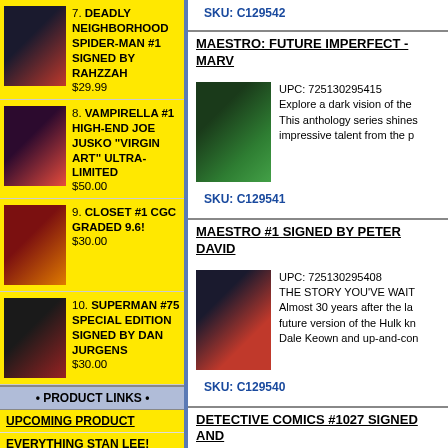SKU: C129542
7. DEADLY NEIGHBORHOOD SPIDER-MAN #1 SIGNED BY RAHZZAH $29.99
8. VAMPIRELLA #1 HIGH-END JOE JUSKO "VIRGIN ART" ULTRA-LIMITED $50.00
9. CLOSET #1 CGC GRADED 9.6! $30.00
10. SUPERMAN #75 SPECIAL EDITION SIGNED BY DAN JURGENS $30.00
• PRODUCT LINKS •
UPCOMING PRODUCT
EVERYTHING STAN LEE!
INCENTIVES
THIS JUST IN!
COMIC BOOKS
TRADE PAPERBACKS
MAESTRO: FUTURE IMPERFECT - MARV
[Figure (illustration): Comic book cover for Maestro Future Imperfect]
UPC: 725130295415 Explore a dark vision of the This anthology series shines impressive talent from the p
SKU: C129541
MAESTRO #1 SIGNED BY PETER DAVID
[Figure (illustration): Comic book cover for Maestro #1]
UPC: 725130295408 THE STORY YOU'VE WAIT Almost 30 years after the la future version of the Hulk kn Dale Keown and up-and-con
SKU: C129540
DETECTIVE COMICS #1027 SIGNED AND BY KEN HAESER
[Figure (illustration): Comic book cover for Detective Comics #1027]
UPC: 725130295323 Light the signal, DETECTIV special, over-sized celebratio of Gotham's greatest hero